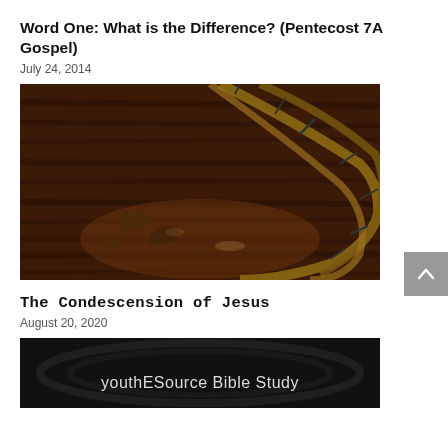Word One: What is the Difference? (Pentecost 7A Gospel)
July 24, 2014
[Figure (photo): Crown of thorns on dark wooden surface, close-up photograph]
The Condescension of Jesus
August 20, 2020
[Figure (screenshot): Dark background image with white text reading 'youthESource Bible Study']